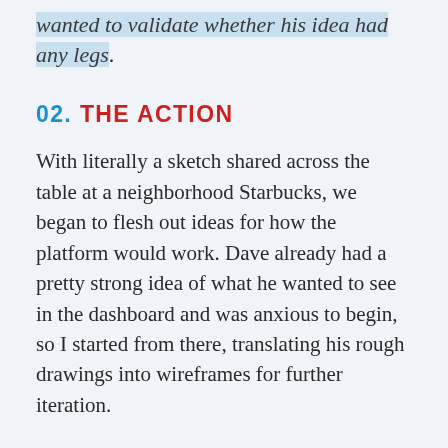wanted to validate whether his idea had any legs.
02. THE ACTION
With literally a sketch shared across the table at a neighborhood Starbucks, we began to flesh out ideas for how the platform would work. Dave already had a pretty strong idea of what he wanted to see in the dashboard and was anxious to begin, so I started from there, translating his rough drawings into wireframes for further iteration.